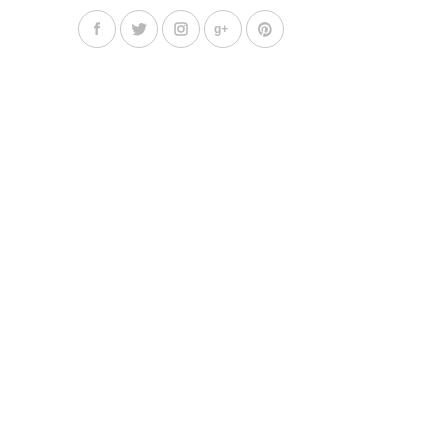[Figure (infographic): Five social media icons in light gray circular outlines: Facebook (f), Twitter (bird), Instagram (camera), Google+ (g+), Pinterest (p)]